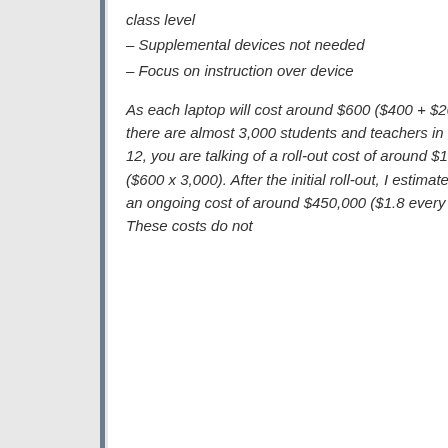class level
– Supplemental devices not needed
– Focus on instruction over device
As each laptop will cost around $600 ($400 + $200) and there are almost 3,000 students and teachers in grades 7-12, you are talking of a roll-out cost of around $1.8 million ($600 x 3,000). After the initial roll-out, I estimate would be an ongoing cost of around $450,000 ($1.8 every 4 years). These costs do not